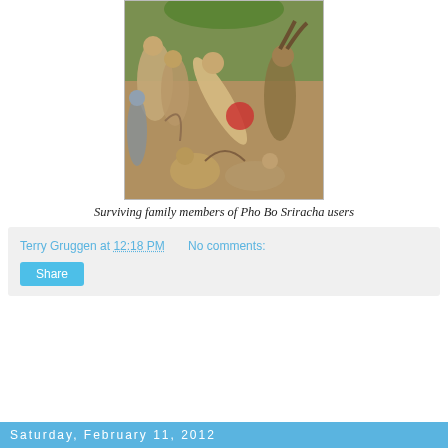[Figure (illustration): A detail from a classical Renaissance or medieval painting depicting a chaotic scene of nude human figures being tormented, with demonic creatures including a goat-like beast. Figures are shown in contorted poses in warm earthy tones of ochre, gold, and flesh colors against a greenish background.]
Surviving family members of Pho Bo Sriracha users
Terry Gruggen at 12:18 PM    No comments:
Share
Saturday, February 11, 2012